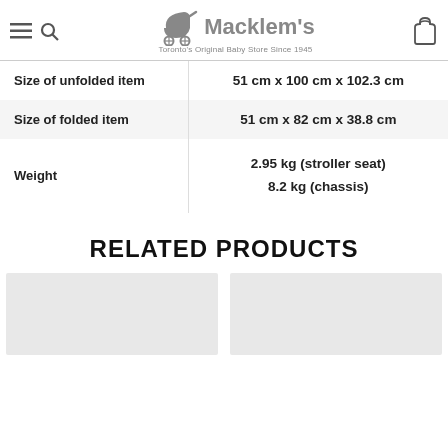Macklem's — Toronto's Original Baby Store Since 1945
| Attribute | Value |
| --- | --- |
| Size of unfolded item | 51 cm x 100 cm x 102.3 cm |
| Size of folded item | 51 cm x 82 cm x 38.8 cm |
| Weight | 2.95 kg (stroller seat)
8.2 kg (chassis) |
RELATED PRODUCTS
[Figure (photo): Product thumbnail placeholder left]
[Figure (photo): Product thumbnail placeholder right]